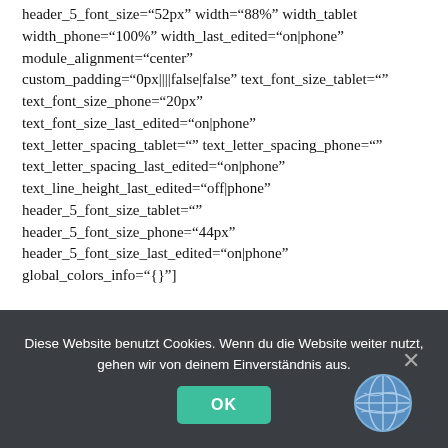header_5_font_size="52px" width="88%" width_tablet width_phone="100%" width_last_edited="on|phone" module_alignment="center" custom_padding="0px||||false|false" text_font_size_tablet="" text_font_size_phone="20px" text_font_size_last_edited="on|phone" text_letter_spacing_tablet="" text_letter_spacing_phone="" text_letter_spacing_last_edited="on|phone" text_line_height_last_edited="off|phone" header_5_font_size_tablet="" header_5_font_size_phone="44px" header_5_font_size_last_edited="on|phone" global_colors_info="{}"]
OUR APPROACH
Diese Website benutzt Cookies. Wenn du die Website weiter nutzt, gehen wir von deinem Einverständnis aus. OK ×